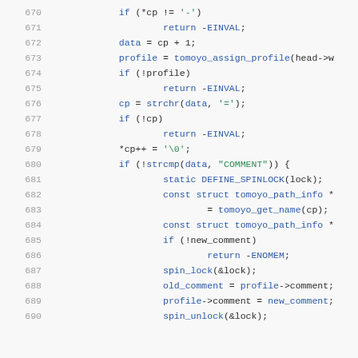[Figure (screenshot): Source code snippet showing C code lines 670-690 with syntax highlighting. Line numbers in gray on left, keywords in blue, string literals in green, regular code in dark color.]